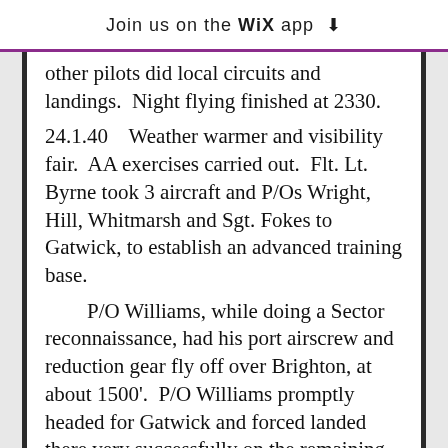Join us on the WiX app ↓
other pilots did local circuits and landings.  Night flying finished at 2330.
24.1.40    Weather warmer and visibility fair.  AA exercises carried out.  Flt. Lt. Byrne took 3 aircraft and P/Os Wright, Hill, Whitmarsh and Sgt. Fokes to Gatwick, to establish an advanced training base.
P/O Williams, while doing a Sector reconnaissance, had his port airscrew and reduction gear fly off over Brighton, at about 1500'.  P/O Williams promptly headed for Gatwick and forced landed there very successfully on the remaining engine. It was later collected by the C.O.
A night flying programme with one aircraft finished at 2230.
25.1.40    Fin...    Local flying...